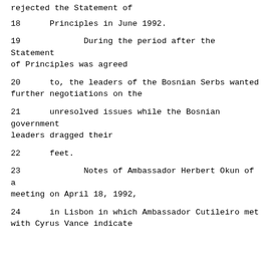rejected the Statement of
18      Principles in June 1992.
19             During the period after the Statement of Principles was agreed
20      to, the leaders of the Bosnian Serbs wanted further negotiations on the
21      unresolved issues while the Bosnian government leaders dragged their
22      feet.
23             Notes of Ambassador Herbert Okun of a meeting on April 18, 1992,
24      in Lisbon in which Ambassador Cutileiro met with Cyrus Vance indicate